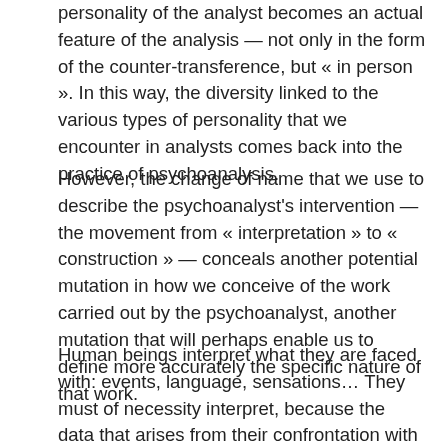personality of the analyst becomes an actual feature of the analysis — not only in the form of the counter-transference, but « in person ». In this way, the diversity linked to the various types of personality that we encounter in analysts comes back into the practice of psychoanalysis.
However, the change of name that we use to describe the psychoanalyst's intervention — the movement from « interpretation » to « construction » — conceals another potential mutation in how we conceive of the work carried out by the psychoanalyst, another mutation that will perhaps enable us to define more accurately the specific nature of that work.
Human beings interpret what they are faced with: events, language, sensations… They must of necessity interpret, because the data that arises from their confrontation with both internal and external reality must always be interpreted — the raw data that the human mind must make meaningful.